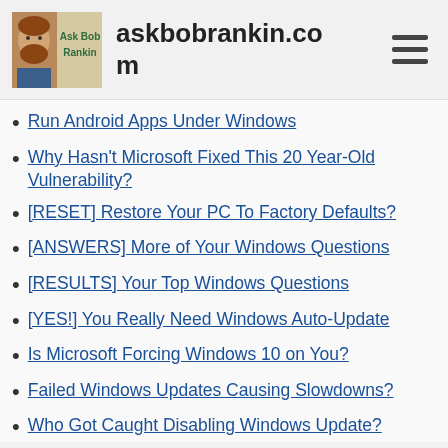askbobrankin.com
Run Android Apps Under Windows
Why Hasn't Microsoft Fixed This 20 Year-Old Vulnerability?
[RESET] Restore Your PC To Factory Defaults?
[ANSWERS] More of Your Windows Questions
[RESULTS] Your Top Windows Questions
[YES!] You Really Need Windows Auto-Update
Is Microsoft Forcing Windows 10 on You?
Failed Windows Updates Causing Slowdowns?
Who Got Caught Disabling Windows Update?